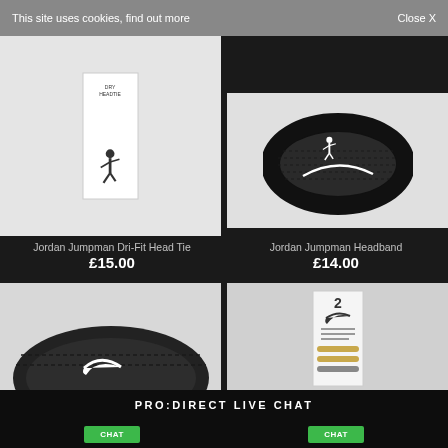This site uses cookies, find out more   Close X
[Figure (photo): Jordan Jumpman Dri-Fit Head Tie product photo - white headband/tie with Jumpman logo on light grey background]
Jordan Jumpman Dri-Fit Head Tie
£15.00
[Figure (photo): Jordan Jumpman Headband product photo - black knitted headband with white Jumpman logo on light grey background]
Jordan Jumpman Headband
£14.00
[Figure (photo): Nike headband product photo - black Nike headband with white swoosh logo on grey background]
[Figure (photo): Nike hairbands 2-pack product photo - packaged hairbands on grey background]
PRO:DIRECT LIVE CHAT